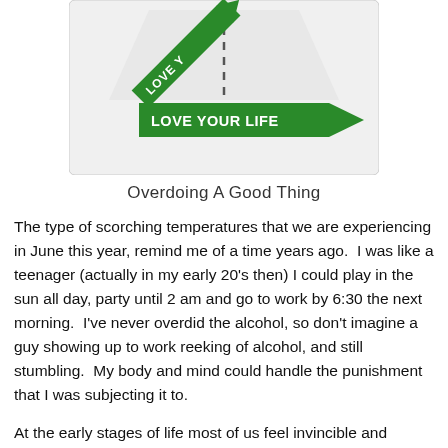[Figure (illustration): Illustration of two green arrows labeled 'LOVE YOUR LIFE' on a road/path background. One arrow points diagonally up-left, another points right horizontally, both with white text on green backgrounds.]
Overdoing A Good Thing
The type of scorching temperatures that we are experiencing in June this year, remind me of a time years ago.  I was like a teenager (actually in my early 20's then) I could play in the sun all day, party until 2 am and go to work by 6:30 the next morning.  I've never overdid the alcohol, so don't imagine a guy showing up to work reeking of alcohol, and still stumbling.  My body and mind could handle the punishment that I was subjecting it to.
At the early stages of life most of us feel invincible and rightfully so, youth is a combination of many things, inexperience and vanity are only two of those many things.  By the age of 30 I felt that even retirement age was light years away, and I could take chances with my health, and